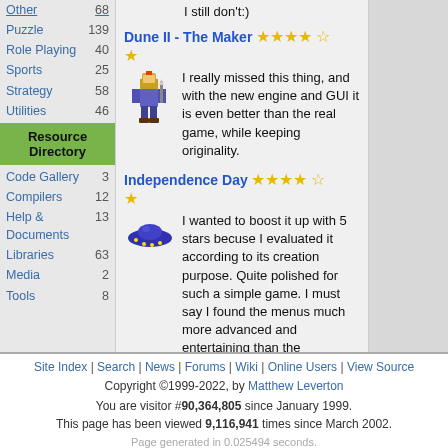Other 68
Puzzle 139
Role Playing 40
Sports 25
Strategy 58
Utilities 46
Resource Directory
Code Gallery 3
Compilers 12
Help & Documents 13
Libraries 63
Media 2
Tools 8
I still don't:)
Dune II - The Maker ★★★★☆
I really missed this thing, and with the new engine and GUI it is even better than the real game, while keeping originality.
Independence Day ★★★★☆
I wanted to boost it up with 5 stars becuse I evaluated it according to its creation purpose. Quite polished for such a simple game. I must say I found the menus much more advanced and entertaining than the gameplay screen:)
Site Index | Search | News | Forums | Wiki | Online Users | View Source
Copyright ©1999-2022, by Matthew Leverton
You are visitor #90,364,805 since January 1999. This page has been viewed 9,116,941 times since March 2002.
Page generated in 0.025494 seconds.